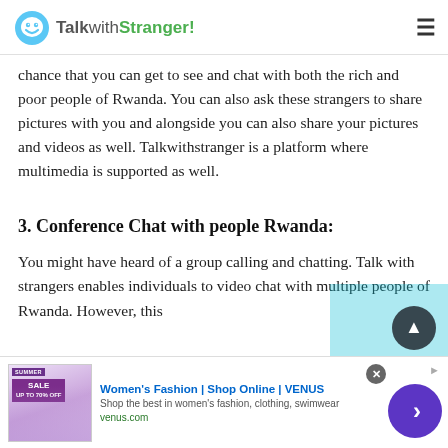TalkwithStranger!
chance that you can get to see and chat with both the rich and poor people of Rwanda. You can also ask these strangers to share pictures with you and alongside you can also share your pictures and videos as well. Talkwithstranger is a platform where multimedia is supported as well.
3. Conference Chat with people Rwanda:
You might have heard of a group calling and chatting. Talk with strangers enables individuals to video chat with multiple people of Rwanda. However, this
[Figure (screenshot): Advertisement banner for Women's Fashion | Shop Online | VENUS with image of woman, SUMMER SALE badge, close button, and navigation arrow button]